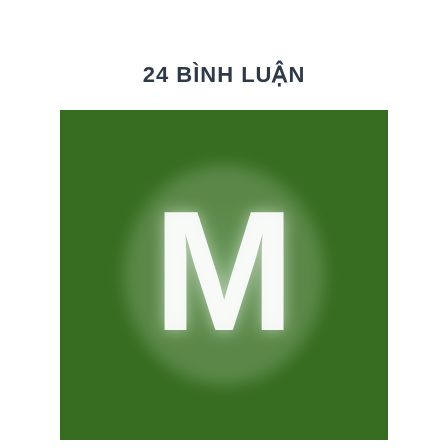24 BÌNH LUẬN
[Figure (illustration): Green square avatar/logo with a large white letter M in the center, with a soft glow effect around the letter on a dark green background.]